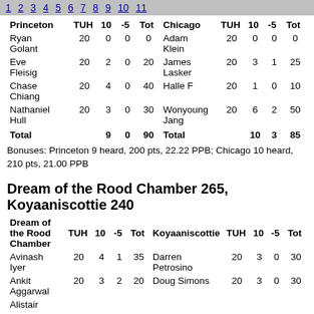Chicago 200, Princeton 200
| Princeton | TUH | 10 | -5 | Tot | Chicago | TUH | 10 | -5 | Tot |
| --- | --- | --- | --- | --- | --- | --- | --- | --- | --- |
| Ryan Golant | 20 | 0 | 0 | 0 | Adam Klein | 20 | 0 | 0 | 0 |
| Eve Fleisig | 20 | 2 | 0 | 20 | James Lasker | 20 | 3 | 1 | 25 |
| Chase Chiang | 20 | 4 | 0 | 40 | Halle F | 20 | 1 | 0 | 10 |
| Nathaniel Hull | 20 | 3 | 0 | 30 | Wonyoung Jang | 20 | 6 | 2 | 50 |
| Total |  | 9 | 0 | 90 | Total |  | 10 | 3 | 85 |
Bonuses: Princeton 9 heard, 200 pts, 22.22 PPB; Chicago 10 heard, 210 pts, 21.00 PPB
Dream of the Rood Chamber 265, Koyaaniscottie 240
| Dream of the Rood Chamber | TUH | 10 | -5 | Tot | Koyaaniscottie | TUH | 10 | -5 | Tot |
| --- | --- | --- | --- | --- | --- | --- | --- | --- | --- |
| Avinash Iyer | 20 | 4 | 1 | 35 | Darren Petrosino | 20 | 3 | 0 | 30 |
| Ankit Aggarwal | 20 | 3 | 2 | 20 | Doug Simons | 20 | 3 | 0 | 30 |
| Alistair |  |  |  |  |  |  |  |  |  |